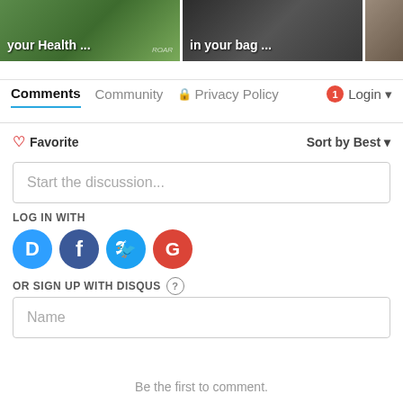[Figure (screenshot): Two article thumbnail images at top: 'your Health ...' with green outdoor background and 'in your bag ...' with dark background. A third partially visible image on the right.]
Comments  Community  Privacy Policy  1  Login
Favorite  Sort by Best
Start the discussion...
LOG IN WITH
[Figure (logo): Social login icons: Disqus (D, blue), Facebook (f, dark blue), Twitter (bird, blue), Google (G, red)]
OR SIGN UP WITH DISQUS ?
Name
Be the first to comment.